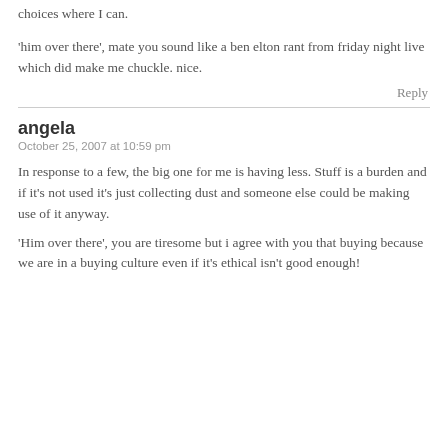choices where I can.
'him over there', mate you sound like a ben elton rant from friday night live which did make me chuckle. nice.
Reply
angela
October 25, 2007 at 10:59 pm
In response to a few, the big one for me is having less. Stuff is a burden and if it's not used it's just collecting dust and someone else could be making use of it anyway.
'Him over there', you are tiresome but i agree with you that buying because we are in a buying culture even if it's ethical isn't good enough!